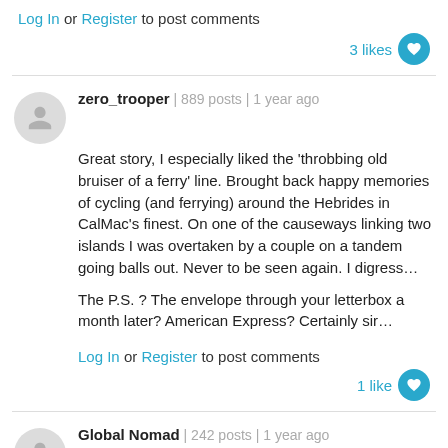Log In or Register to post comments
3 likes
zero_trooper | 889 posts | 1 year ago
Great story, I especially liked the 'throbbing old bruiser of a ferry' line. Brought back happy memories of cycling (and ferrying) around the Hebrides in CalMac's finest. On one of the causeways linking two islands I was overtaken by a couple on a tandem going balls out. Never to be seen again. I digress…

The P.S. ? The envelope through your letterbox a month later? American Express? Certainly sir…
Log In or Register to post comments
1 like
Global Nomad | 242 posts | 1 year ago
have been longing to take the bike by the horns and head down to the in-laws in Rome from London for a long